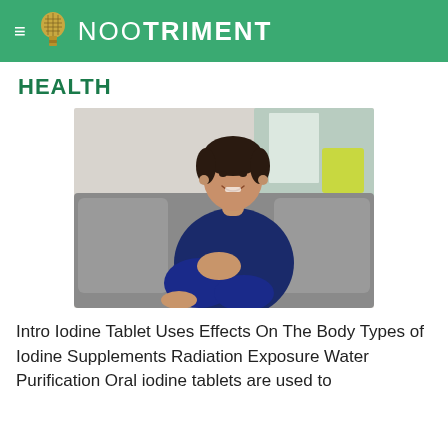NOOTRIMENT
HEALTH
[Figure (photo): A smiling middle-aged woman with dark hair, wearing a navy blue top and jeans, sitting on a grey sofa with cushions in a bright indoor setting.]
Intro Iodine Tablet Uses Effects On The Body Types of Iodine Supplements Radiation Exposure Water Purification Oral iodine tablets are used to